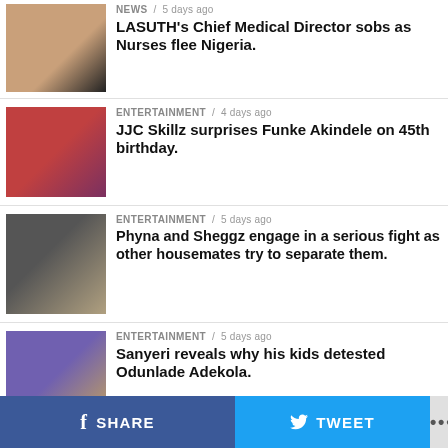[Figure (photo): Thumbnail of a man in a cap, news article photo]
NEWS / 5 days ago
LASUTH's Chief Medical Director sobs as Nurses flee Nigeria.
[Figure (photo): Thumbnail of a couple in red, entertainment article photo]
ENTERTAINMENT / 4 days ago
JJC Skillz surprises Funke Akindele on 45th birthday.
[Figure (photo): Thumbnail of a man with sunglasses and a woman, entertainment article photo]
ENTERTAINMENT / 5 days ago
Phyna and Sheggz engage in a serious fight as other housemates try to separate them.
[Figure (photo): Thumbnail of men in traditional attire, entertainment article photo]
ENTERTAINMENT / 5 days ago
Sanyeri reveals why his kids detested Odunlade Adekola.
[Figure (photo): Thumbnail partially visible, entertainment article photo]
ENTERTAINMENT / 5 days ago
American singer Selena Gomez set to
SHARE
TWEET
•••